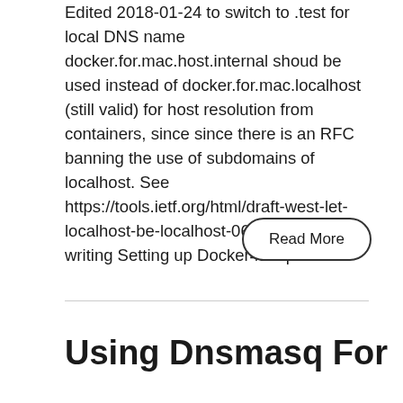Edited 2018-01-24 to switch to .test for local DNS name docker.for.mac.host.internal shoud be used instead of docker.for.mac.localhost (still valid) for host resolution from containers, since since there is an RFC banning the use of subdomains of localhost. See https://tools.ietf.org/html/draft-west-let-localhost-be-localhost-06. #### Since writing Setting up Docker4Drupal ...
Read More
Using Dnsmasq For